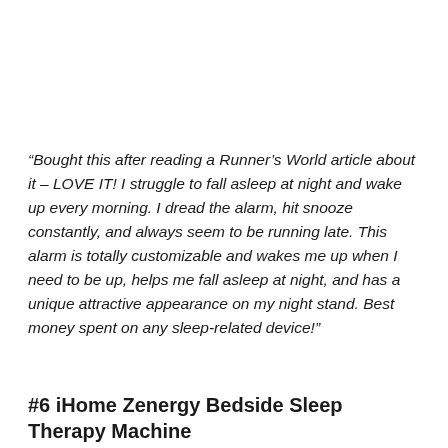“Bought this after reading a Runner’s World article about it – LOVE IT! I struggle to fall asleep at night and wake up every morning. I dread the alarm, hit snooze constantly, and always seem to be running late. This alarm is totally customizable and wakes me up when I need to be up, helps me fall asleep at night, and has a unique attractive appearance on my night stand. Best money spent on any sleep-related device!”
#6 iHome Zenergy Bedside Sleep Therapy Machine